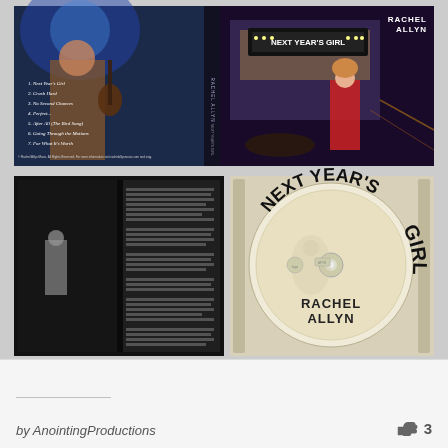[Figure (photo): Collage of Rachel Allyn 'Next Year's Girl' CD packaging: top row shows album back cover (performer on dark stage with blue lighting, track listing visible) and front cover (performer in red dress on city street at night with venue marquee reading 'Next Year's Girl' and Rachel Allyn text top right); bottom row shows open booklet (black and white photo of performer, liner notes text) and CD disc in case (reading 'Next Year's Girl' in large curved text around disc, 'Rachel Allyn' at bottom center)]
by AnointingProductions
3